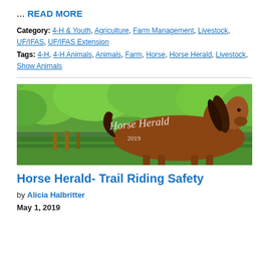... READ MORE
Category: 4-H & Youth, Agriculture, Farm Management, Livestock, UF/IFAS, UF/IFAS Extension
Tags: 4-H, 4-H Animals, Animals, Farm, Horse, Horse Herald, Livestock, Show Animals
[Figure (photo): Banner photo of a brown horse standing in a green field with text 'Horse Herald 2019' overlaid]
Horse Herald- Trail Riding Safety
by Alicia Halbritter
May 1, 2019